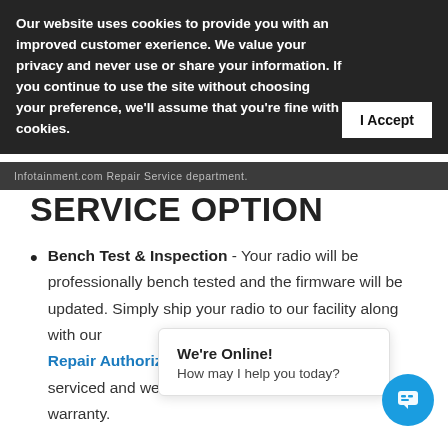Our website uses cookies to provide you with an improved customer exerience. We value your privacy and never use or share your information. If you continue to use the site without choosing your preference, we'll assume that you're fine with cookies.
I Accept
Infotainment.com Repair Service department.
SERVICE OPTION
Bench Test & Inspection - Your radio will be professionally bench tested and the firmware will be updated. Simply ship your radio to our facility along with our Repair Authorization Form. Allow 2-3 days to be serviced and we will ... tra... warranty.
We're Online! How may I help you today?